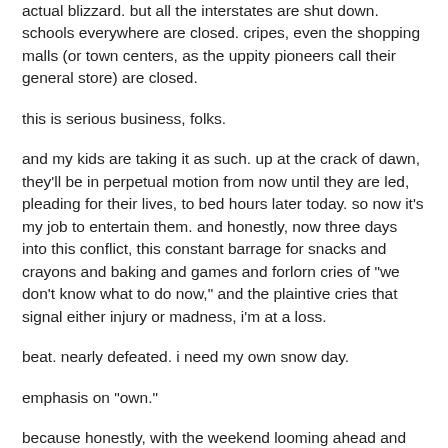actual blizzard. but all the interstates are shut down. schools everywhere are closed. cripes, even the shopping malls (or town centers, as the uppity pioneers call their general store) are closed.
this is serious business, folks.
and my kids are taking it as such. up at the crack of dawn, they'll be in perpetual motion from now until they are led, pleading for their lives, to bed hours later today. so now it's my job to entertain them. and honestly, now three days into this conflict, this constant barrage for snacks and crayons and baking and games and forlorn cries of "we don't know what to do now," and the plaintive cries that signal either injury or madness, i'm at a loss.
beat. nearly defeated. i need my own snow day.
emphasis on "own."
because honestly, with the weekend looming ahead and the wind and snow still whipping around outside, i have to say